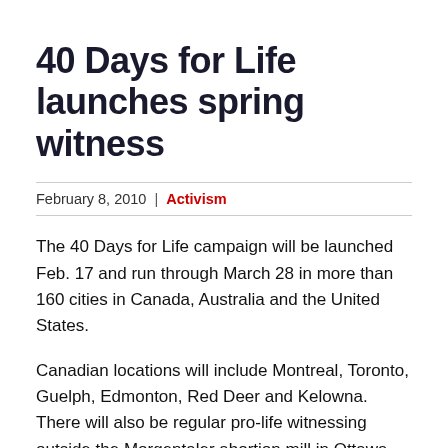40 Days for Life launches spring witness
February 8, 2010 | Activism
The 40 Days for Life campaign will be launched Feb. 17 and run through March 28 in more than 160 cities in Canada, Australia and the United States.
Canadian locations will include Montreal, Toronto, Guelph, Edmonton, Red Deer and Kelowna. There will also be regular pro-life witnessing outside the Morgentaler abortion mill in Ottawa and